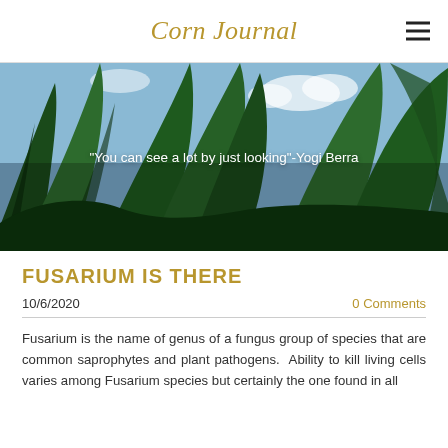Corn Journal
[Figure (photo): Close-up photo of corn plant leaves against a light blue sky with white clouds. The large dark green leaves are shown from below looking up. A white quote text overlays the center of the image.]
"You can see a lot by just looking"-Yogi Berra
FUSARIUM IS THERE
10/6/2020
0 Comments
Fusarium is the name of genus of a fungus group of species that are common saprophytes and plant pathogens. Ability to kill living cells varies among Fusarium species but certainly the one found in all